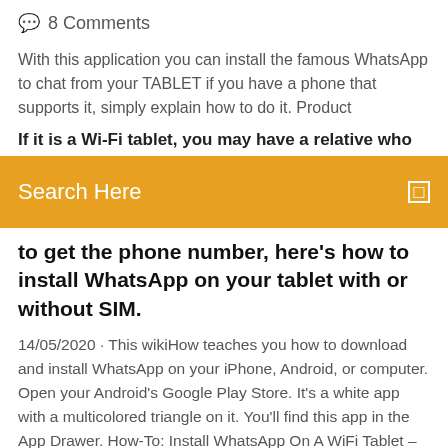💬 8 Comments
With this application you can install the famous WhatsApp to chat from your TABLET if you have a phone that supports it, simply explain how to do it. Product
If it is a Wi-Fi tablet, you may have a relative who does
[Figure (screenshot): Orange search bar with 'Search Here' text and a search icon on the right]
to get the phone number, here's how to install WhatsApp on your tablet with or without SIM.
14/05/2020 · This wikiHow teaches you how to download and install WhatsApp on your iPhone, Android, or computer. Open your Android's Google Play Store. It's a white app with a multicolored triangle on it. You'll find this app in the App Drawer. How-To: Install WhatsApp On A WiFi Tablet – ... A tablet with 3G can use a SIM but a tablet using WiFi doesn't have a SIM, this can be a problem if you want to use WhatsApp. If you have a WiFi tablet and you want to get WhatsApp, we have a method